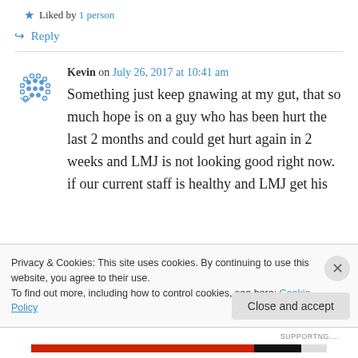★ Liked by 1 person
↪ Reply
Kevin on July 26, 2017 at 10:41 am
Something just keep gnawing at my gut, that so much hope is on a guy who has been hurt the last 2 months and could get hurt again in 2 weeks and LMJ is not looking good right now. if our current staff is healthy and LMJ get his
Privacy & Cookies: This site uses cookies. By continuing to use this website, you agree to their use.
To find out more, including how to control cookies, see here: Cookie Policy
Close and accept